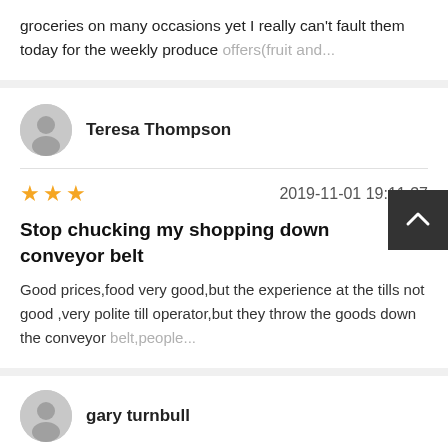groceries on many occasions yet I really can't fault them today for the weekly produce offers(fruit and...
Teresa Thompson
★★★  2019-11-01 19:11:37
Stop chucking my shopping down conveyor belt
Good prices,food very good,but the experience at the tills not good ,very polite till operator,but they throw the goods down the conveyor belt,people...
gary turnbull